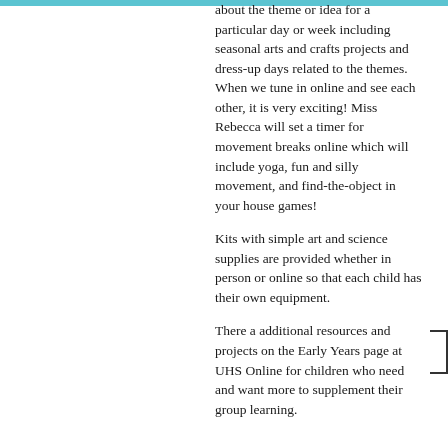about the theme or idea for a particular day or week including seasonal arts and crafts projects and dress-up days related to the themes. When we tune in online and see each other, it is very exciting! Miss Rebecca will set a timer for movement breaks online which will include yoga, fun and silly movement, and find-the-object in your house games!
Kits with simple art and science supplies are provided whether in person or online so that each child has their own equipment.
There a additional resources and projects on the Early Years page at UHS Online for children who need and want more to supplement their group learning.